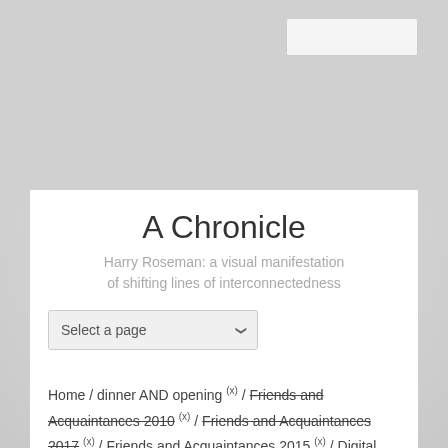[Figure (screenshot): Top navigation bar area with light gray background and white search input box in upper right]
A Chronicle
Harry Roseman: a visual manifestation of shifting lines of interconnectedness
Select a page
Home / dinner AND opening (x) / Friends and Acquaintances 2010 (x) / Friends and Acquaintances 2017 (x) / Friends and Acquaintances 2015 (x) / Digital Collections (x) / All of Us: Harry Roseman (x) / Search results